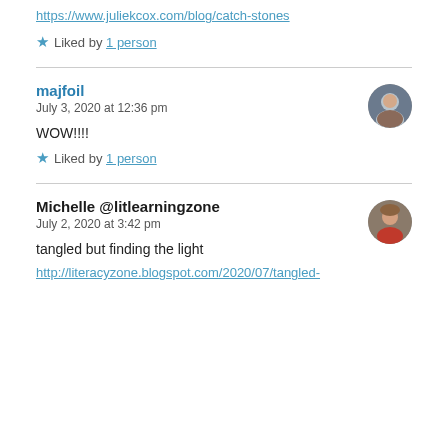https://www.juliekcox.com/blog/catch-stones
★ Liked by 1 person
majfoil
July 3, 2020 at 12:36 pm
WOW!!!!
★ Liked by 1 person
Michelle @litlearningzone
July 2, 2020 at 3:42 pm
tangled but finding the light
http://literacyzone.blogspot.com/2020/07/tangled-